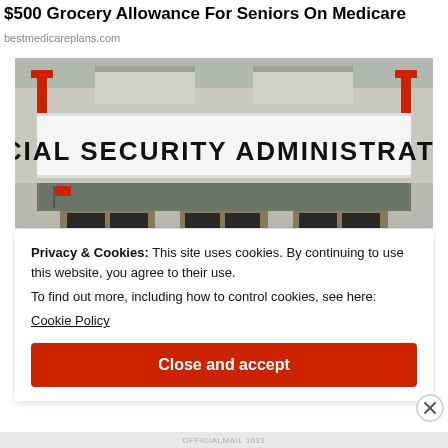$500 Grocery Allowance For Seniors On Medicare
bestmedicareplans.com
[Figure (photo): Exterior photo of a Social Security Administration building entrance with large sign reading SOCIAL SECURITY ADMINISTRATION above glass doors]
Privacy & Cookies: This site uses cookies. By continuing to use this website, you agree to their use.
To find out more, including how to control cookies, see here:
Cookie Policy
Close and accept